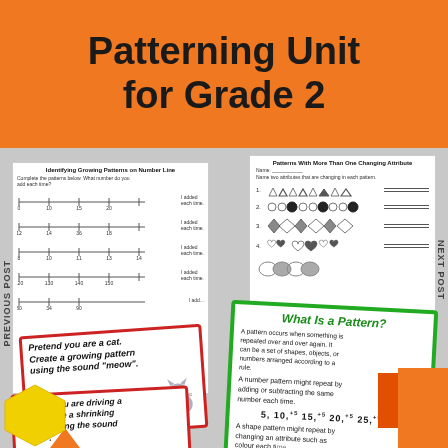Patterning Unit for Grade 2
[Figure (photo): Two educational worksheets shown: left worksheet titled 'Identifying Growing Patterns on Number Line', right worksheet titled 'Patterns With More Than One Changing Attribute' with triangle, circle, diamond, and heart shape patterns.]
PREVIOUS POST
NEXT POST
[Figure (photo): Red-bordered task card reading: Pretend you are a cat. Create a growing pattern using the sound 'meow'. #5 with cat illustration]
[Figure (photo): Green-bordered card titled 'What Is a Pattern?' explaining patterns, with example number pattern 5, 10, 15, 20, 25, 30 with +5 labels, and mention of shape patterns]
[Figure (photo): Red-bordered task card reading: Pretend you are driving a bus. Create a shrinking pattern using the sound 'beep'.]
[Figure (illustration): Orange and red rectangular decorative shapes at bottom right, yellow hexagon at bottom left]